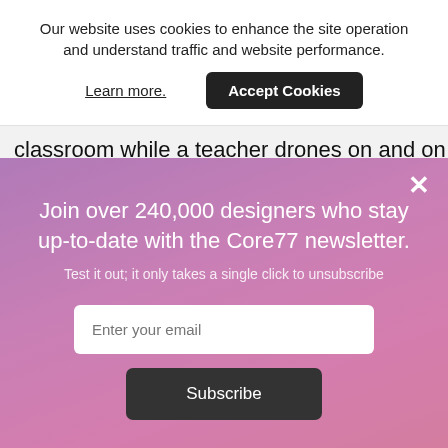Our website uses cookies to enhance the site operation and understand traffic and website performance.
Learn more.
Accept Cookies
classroom while a teacher drones on and on is
×
Join over 240,000 designers who stay up-to-date with the Core77 newsletter.
Test it out; it only takes a single click to unsubscribe
Enter your email
Subscribe